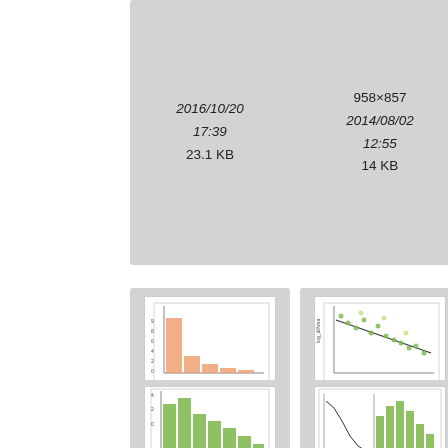[Figure (screenshot): File browser/gallery view showing thumbnail cards for image files. Top row shows three partially visible cards with metadata. Middle row shows lm_fig_3.png (histogram, orange), lm_fig_4.png (scatter plot, green), and partially visible lm_fig_5. Bottom row shows two more thumbnail cards partially visible.]
958×857
2014/08/02
12:55
14 KB
1929×
2014/0
13:
17.4
[Figure (screenshot): Thumbnail of lm_fig_3.png showing an orange histogram with high first bar declining.]
lm_fig_3.png
906×662
2014/08/02
12:55
8.8 KB
[Figure (screenshot): Thumbnail of lm_fig_4.png showing a scatter plot with green dots and a downward trend line.]
lm_fig_4.png
958×857
2014/08/02
12:55
15.2 KB
[Figure (screenshot): Partially visible thumbnail of lm_fig_5 showing a green histogram.]
lm_fig_
891×
2014/0
12: